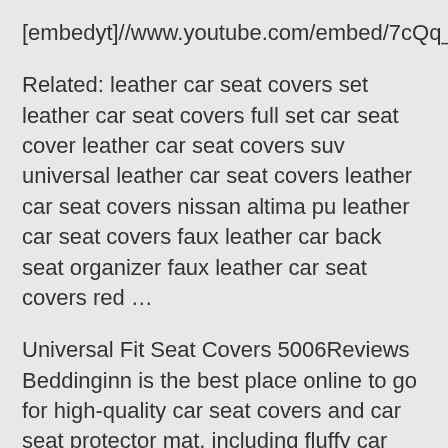[embedyt]//www.youtube.com/embed/7cQq_9ZO_nw[/e
Related: leather car seat covers set leather car seat covers full set car seat cover leather car seat covers suv universal leather car seat covers leather car seat covers nissan altima pu leather car seat covers faux leather car back seat organizer faux leather car seat covers red …
Universal Fit Seat Covers 5006Reviews Beddinginn is the best place online to go for high-quality car seat covers and car seat protector mat, including fluffy car seat covers, winter car seat cover, princess car seat covers, plush car seat covers, fur seat covers for cars, etc. Regular maintenance should goes a long way keeping your seats as …
Protect your upholstery from the daily wear and tear by simply adding quality car seat covers. Shop from the world's largest selection and best deals for